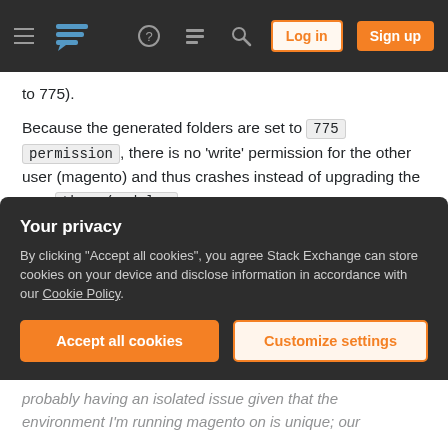Stack Exchange navigation bar with Log in and Sign up buttons
to 775).
Because the generated folders are set to 775 permission , there is no 'write' permission for the other user (magento) and thus crashes instead of upgrading the new theme/modules .
I cannot run the command line as a root user as it uses cgi/fgi instead of cli. I end up having to run as the centos user which uses cli (magento's command line interface) If I could run cli commands
Your privacy
By clicking "Accept all cookies", you agree Stack Exchange can store cookies on your device and disclose information in accordance with our Cookie Policy.
Accept all cookies   Customize settings
probably having an isolated issue given that the environment I'm running magento on is unique; our